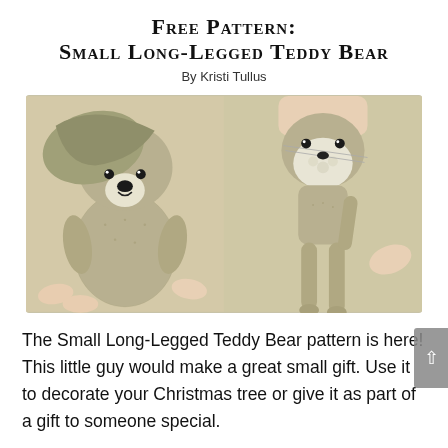Free Pattern: Small Long-Legged Teddy Bear
By Kristi Tullus
[Figure (photo): Two side-by-side photos of a crocheted small long-legged teddy bear being held and assembled by hand. Left photo shows hands holding the bear body with head being attached; right photo shows the bear with long thin legs held up.]
The Small Long-Legged Teddy Bear pattern is here! This little guy would make a great small gift. Use it to decorate your Christmas tree or give it as part of a gift to someone special.